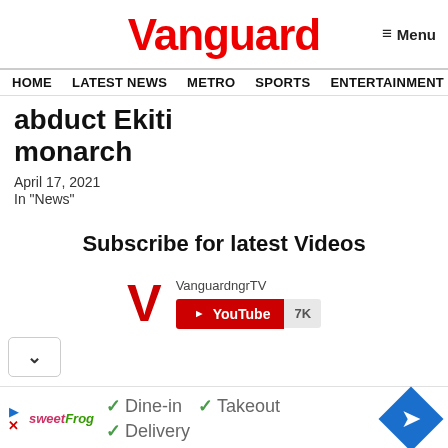Vanguard
≡ Menu
HOME  LATEST NEWS  METRO  SPORTS  ENTERTAINMENT  VIDEOS
abduct Ekiti monarch
April 17, 2021
In "News"
Subscribe for latest Videos
[Figure (other): YouTube subscribe widget for VanguardngrTV channel showing red YouTube button with 7K subscribers]
[Figure (other): Advertisement for sweetFrog showing Dine-in, Takeout, and Delivery options with a navigation diamond icon]